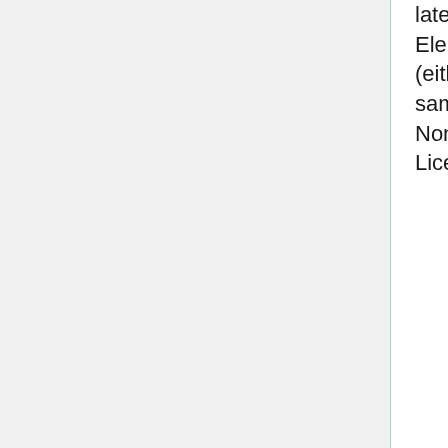later version of this License with the same License Elements; (iii) a Creative Commons jurisdiction license (either this or a later license version) that contains the same License Elements as this License (e.g., Attribution-NonCommercial-ShareAlike 3.0 Unported) ("Applicable License").
This Section 4(b) applies to the Adaptation as incorporated in a Collection, but this does not require the Collection apart from the Adaptation itself to be made subject to the terms of the Applicable License.
|}
{{#ifexist: {{#titleparts: Brazil/3.0
{{#arraydefine:pdrtags|{{#ask: [[{{#titlepar